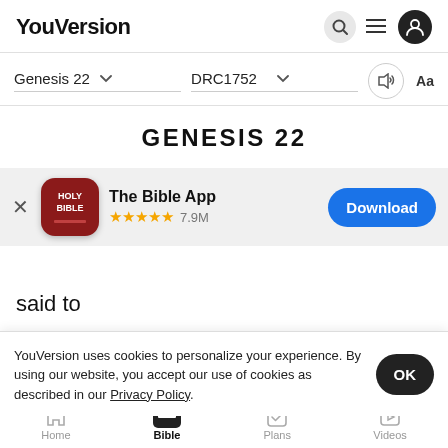YouVersion
Genesis 22 ▾   DRC1752 ▾   🔊  Aa
GENESIS 22
[Figure (screenshot): App install banner: Holy Bible app icon, 'The Bible App', 5 stars, 7.9M rating, Download button]
said to
Here I am...
YouVersion uses cookies to personalize your experience. By using our website, you accept our use of cookies as described in our Privacy Policy.
Home  Bible  Plans  Videos